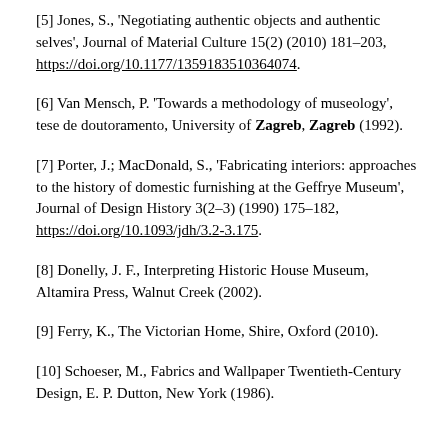[5] Jones, S., 'Negotiating authentic objects and authentic selves', Journal of Material Culture 15(2) (2010) 181–203, https://doi.org/10.1177/1359183510364074.
[6] Van Mensch, P. 'Towards a methodology of museology', tese de doutoramento, University of Zagreb, Zagreb (1992).
[7] Porter, J.; MacDonald, S., 'Fabricating interiors: approaches to the history of domestic furnishing at the Geffrye Museum', Journal of Design History 3(2–3) (1990) 175–182, https://doi.org/10.1093/jdh/3.2-3.175.
[8] Donelly, J. F., Interpreting Historic House Museum, Altamira Press, Walnut Creek (2002).
[9] Ferry, K., The Victorian Home, Shire, Oxford (2010).
[10] Schoeser, M., Fabrics and Wallpaper Twentieth-Century Design, E. P. Dutton, New York (1986).